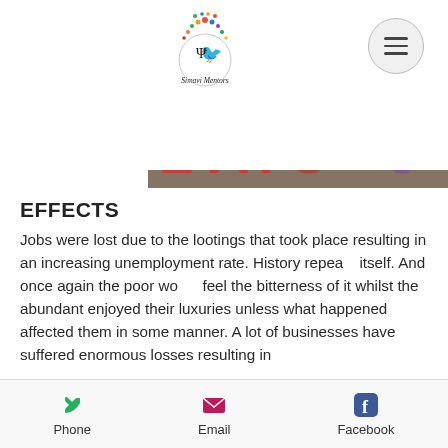[Figure (logo): Simavi Mentors circular logo with colorful tree/umbrella design and text 'Simavi Mentors' below]
[Figure (photo): Graffiti on a wall with red and blue painted letters, partial view of the word]
EFFECTS
Jobs were lost due to the lootings that took place resulting in an increasing unemployment rate. History repeats itself. And once again the poor would feel the bitterness of it whilst the abundant enjoyed their luxuries unless what happened affected them in some manner. A lot of businesses have suffered enormous losses resulting in
Phone   Email   Facebook